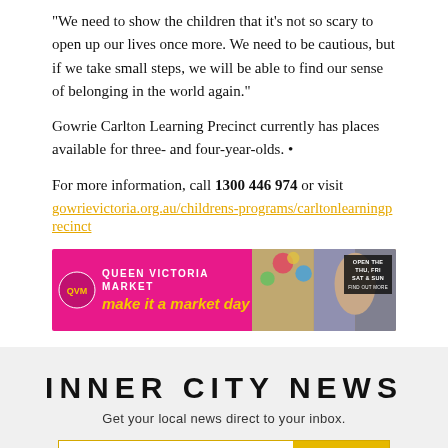“We need to show the children that it’s not so scary to open up our lives once more. We need to be cautious, but if we take small steps, we will be able to find our sense of belonging in the world again.”
Gowrie Carlton Learning Precinct currently has places available for three- and four-year-olds. •
For more information, call 1300 446 974 or visit gowrievictoria.org.au/childrens-programs/carltonlearningprecinct
[Figure (other): Queen Victoria Market advertisement banner: pink background on left with logo, tagline 'QUEEN VICTORIA MARKET make it a market day' in white and yellow, and a photo of a smiling woman in a market on the right with 'OPEN THU FRI SAT & SUN' badge.]
INNER CITY NEWS
Get your local news direct to your inbox.
Your Email Address  Sign up